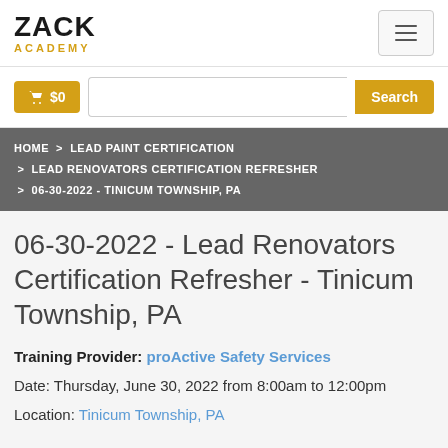ZACK ACADEMY
$0 Search
HOME > LEAD PAINT CERTIFICATION > LEAD RENOVATORS CERTIFICATION REFRESHER > 06-30-2022 - TINICUM TOWNSHIP, PA
06-30-2022 - Lead Renovators Certification Refresher - Tinicum Township, PA
Training Provider: proActive Safety Services
Date: Thursday, June 30, 2022 from 8:00am to 12:00pm
Location: Tinicum Township, PA